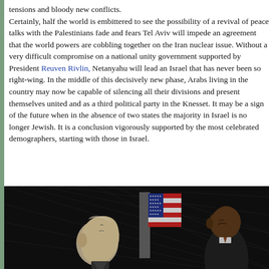tensions and bloody new conflicts.

Certainly, half the world is embittered to see the possibility of a revival of peace talks with the Palestinians fade and fears Tel Aviv will impede an agreement that the world powers are cobbling together on the Iran nuclear issue. Without a very difficult compromise on a national unity government supported by President Reuven Rivlin, Netanyahu will lead an Israel that has never been so right-wing. In the middle of this decisively new phase, Arabs living in the country may now be capable of silencing all their divisions and present themselves united and as a third political party in the Knesset. It may be a sign of the future when in the absence of two states the majority in Israel is no longer Jewish. It is a conclusion vigorously supported by the most celebrated demographers, starting with those in Israel.
[Figure (illustration): A pencil/charcoal illustration showing two figures: on the left, an older bald man in profile (likely Netanyahu), and on the right, a dark-suited man with head bowed (likely Obama), with an American flag in the background.]